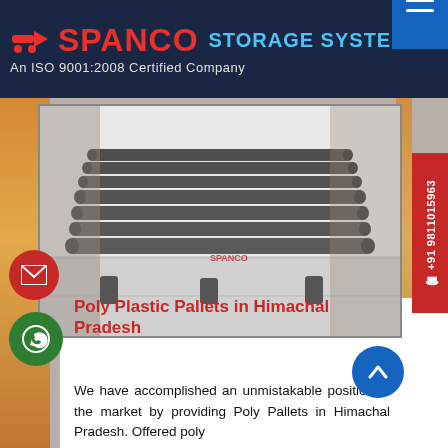SPANCO STORAGE SYSTEMS - An ISO 9001:2008 Certified Company
[Figure (photo): Photo of grey poly plastic pallets with rounded tubular rails on short legs, viewed from a slight angle, on a white floor background.]
Poly Plastic Pallets in Himachal Pradesh
We have accomplished an unmistakable position in the market by providing Poly Pallets in Himachal Pradesh. Offered poly